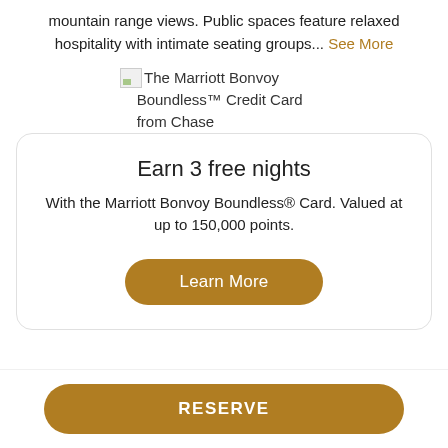mountain range views. Public spaces feature relaxed hospitality with intimate seating groups... See More
[Figure (illustration): Broken image icon followed by text: The Marriott Bonvoy Boundless™ Credit Card from Chase]
Earn 3 free nights
With the Marriott Bonvoy Boundless® Card. Valued at up to 150,000 points.
Learn More
RESERVE